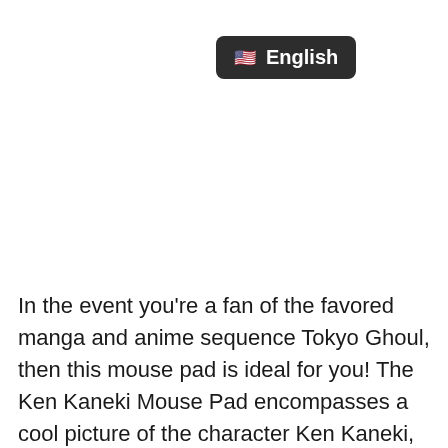[Figure (screenshot): A dark rounded button/dropdown showing a US flag emoji followed by the word 'English' in white bold text on a dark grey background.]
In the event you're a fan of the favored manga and anime sequence Tokyo Ghoul, then this mouse pad is ideal for you! The Ken Kaneki Mouse Pad encompasses a cool picture of the character Ken Kaneki, who is among the foremost characters within the sequence. The mouse pad is created from sturdy cloth and is ideal to be used at your dock. It measures in lots of sizes and is bound to make